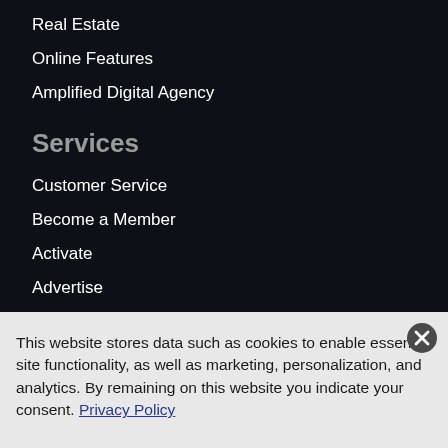Real Estate
Online Features
Amplified Digital Agency
Services
Customer Service
Become a Member
Activate
Advertise
Work here
Photo Submissions
This website stores data such as cookies to enable essential site functionality, as well as marketing, personalization, and analytics. By remaining on this website you indicate your consent. Privacy Policy